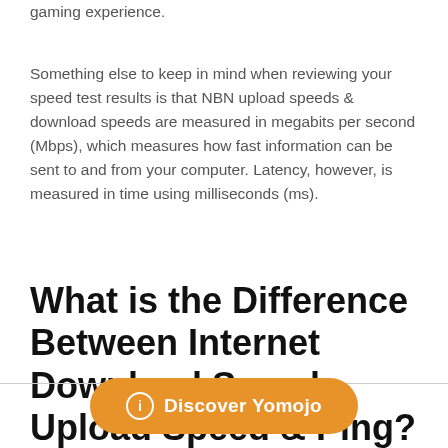gaming experience.
Something else to keep in mind when reviewing your speed test results is that NBN upload speeds & download speeds are measured in megabits per second (Mbps), which measures how fast information can be sent to and from your computer. Latency, however, is measured in time using milliseconds (ms).
What is the Difference Between Internet Download Speed, Upload Speed & Ping?
[Figure (other): Orange rounded button with info icon and text 'Discover Yomojo']